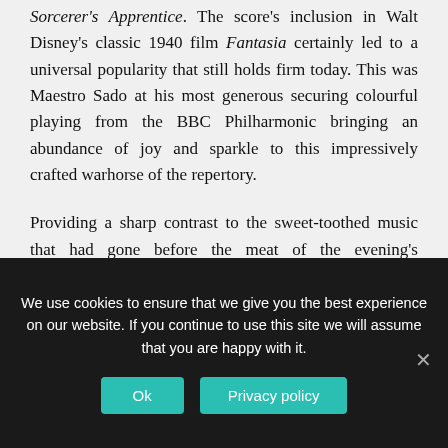Sorcerer's Apprentice. The score's inclusion in Walt Disney's classic 1940 film Fantasia certainly led to a universal popularity that still holds firm today. This was Maestro Sado at his most generous securing colourful playing from the BBC Philharmonic bringing an abundance of joy and sparkle to this impressively crafted warhorse of the repertory.
Providing a sharp contrast to the sweet-toothed music that had gone before the meat of the evening's programming was provided by Walton's magnificent Symphony No. 1. Born in Oldham,
We use cookies to ensure that we give you the best experience on our website. If you continue to use this site we will assume that you are happy with it.